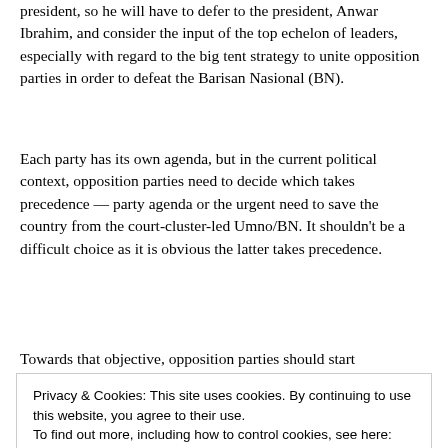president, so he will have to defer to the president, Anwar Ibrahim, and consider the input of the top echelon of leaders, especially with regard to the big tent strategy to unite opposition parties in order to defeat the Barisan Nasional (BN).
Each party has its own agenda, but in the current political context, opposition parties need to decide which takes precedence — party agenda or the urgent need to save the country from the court-cluster-led Umno/BN. It shouldn't be a difficult choice as it is obvious the latter takes precedence.
Towards that objective, opposition parties should start
Privacy & Cookies: This site uses cookies. By continuing to use this website, you agree to their use.
To find out more, including how to control cookies, see here: Cookie Policy
Close and accept